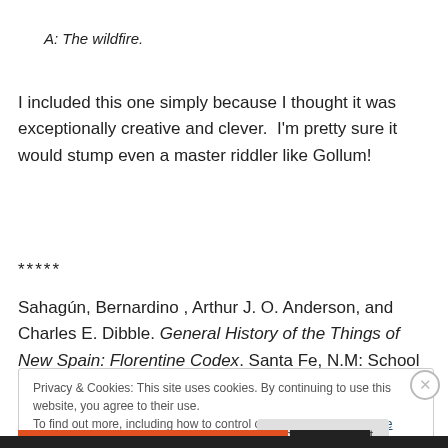A: The wildfire.
I included this one simply because I thought it was exceptionally creative and clever.  I'm pretty sure it would stump even a master riddler like Gollum!
*****
Sahagún, Bernardino , Arthur J. O. Anderson, and Charles E. Dibble. General History of the Things of New Spain: Florentine Codex. Santa Fe, N.M: School of American
Privacy & Cookies: This site uses cookies. By continuing to use this website, you agree to their use.
To find out more, including how to control cookies, see here: Cookie Policy